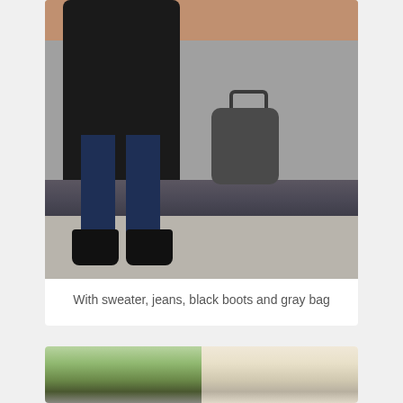[Figure (photo): Street style photo showing lower body of a person wearing a black coat, dark blue skinny jeans, black lace-up ankle boots (Dr. Martens style), and holding a gray/dark quilted leather bag. Background shows a brick wall and stone wall with sidewalk pavement.]
With sweater, jeans, black boots and gray bag
[Figure (photo): Street scene photo, partially visible, showing buildings and trees in an outdoor urban setting.]